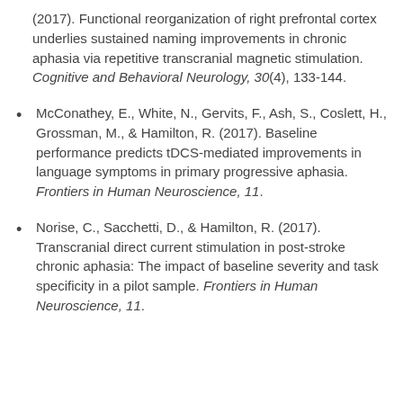(2017). Functional reorganization of right prefrontal cortex underlies sustained naming improvements in chronic aphasia via repetitive transcranial magnetic stimulation. Cognitive and Behavioral Neurology, 30(4), 133-144.
McConathey, E., White, N., Gervits, F., Ash, S., Coslett, H., Grossman, M., & Hamilton, R. (2017). Baseline performance predicts tDCS-mediated improvements in language symptoms in primary progressive aphasia. Frontiers in Human Neuroscience, 11.
Norise, C., Sacchetti, D., & Hamilton, R. (2017). Transcranial direct current stimulation in post-stroke chronic aphasia: The impact of baseline severity and task specificity in a pilot sample. Frontiers in Human Neuroscience, 11.